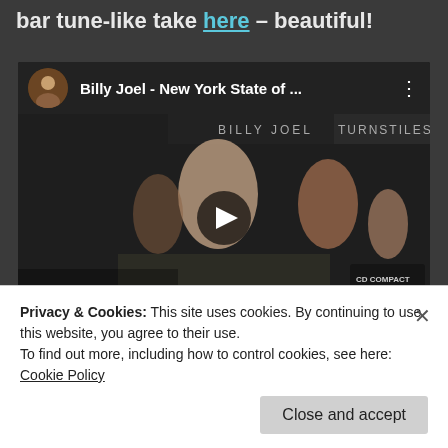bar tune-like take here – beautiful!
[Figure (screenshot): Embedded YouTube video player showing Billy Joel - New York State of ... with Vevo branding and Billy Joel Turnstiles album cover as thumbnail, with play button overlay]
Jerry Lee Lewis/Whole Lot of Shakin' Going On
Privacy & Cookies: This site uses cookies. By continuing to use this website, you agree to their use.
To find out more, including how to control cookies, see here:
Cookie Policy
Close and accept